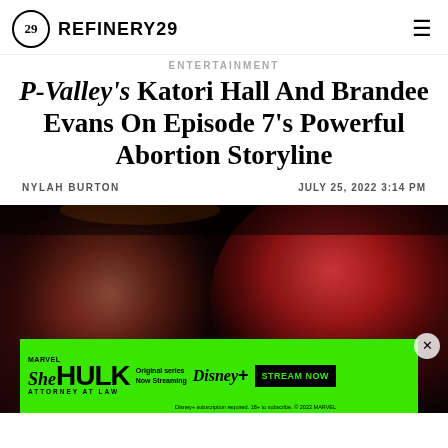REFINERY29
ENTERTAINMENT
P-Valley's Katori Hall And Brandee Evans On Episode 7's Powerful Abortion Storyline
NYLAH BURTON
JULY 25, 2022 3:14 PM
[Figure (photo): Two Black women photographed in dramatic red/pink neon lighting. The woman on the left has braids and is lit from the right side of her face; the woman on the right has her hair up and is lit in bright pink/red light. Advertisement banner for 'She-Hulk: Attorney at Law' streaming on Disney+ overlaid at the bottom.]